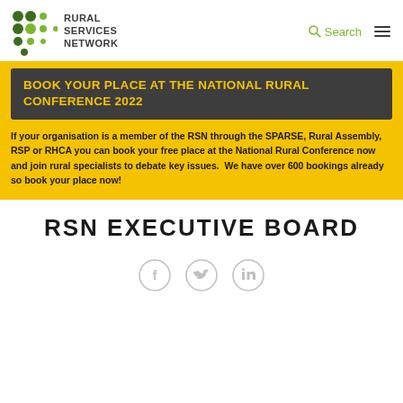RURAL SERVICES NETWORK | Search
BOOK YOUR PLACE AT THE NATIONAL RURAL CONFERENCE 2022
If your organisation is a member of the RSN through the SPARSE, Rural Assembly, RSP or RHCA you can book your free place at the National Rural Conference now and join rural specialists to debate key issues.  We have over 600 bookings already so book your place now!
RSN EXECUTIVE BOARD
[Figure (other): Social media icons: Facebook, Twitter, LinkedIn]